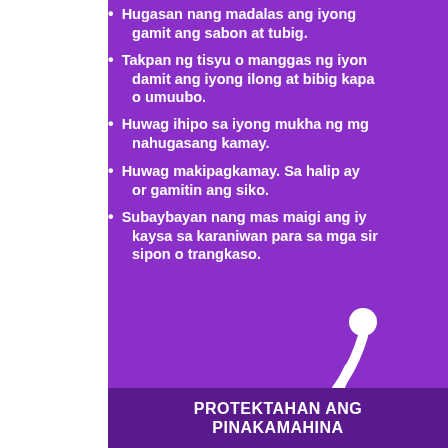Hugasan nang madalas ang iyong [mga kamay] gamit ang sabon at tubig.
Takpan ng tisyu o manggas ng iyong damit ang iyong ilong at bibig kapag [nagbabahing] o umuubo.
Huwag ihipo sa iyong mukha ng mg[a] nahugasang kamay.
Huwag makipagkamay. Sa halip ay [bumati] or gamitin ang siko.
Subaybayan nang mas maigi ang iy[ong kalusugan] kaysa sa karaniwan para sa mga si[mptoma ng] sipon o trangkaso.
[Figure (illustration): White icon of an elderly person hunched over using a cane, on a purple background.]
PROTEKTAHAN ANG PINAKAMAHINA